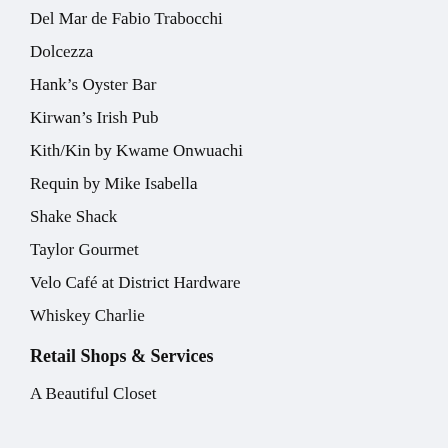Del Mar de Fabio Trabocchi
Dolcezza
Hank's Oyster Bar
Kirwan's Irish Pub
Kith/Kin by Kwame Onwuachi
Requin by Mike Isabella
Shake Shack
Taylor Gourmet
Velo Café at District Hardware
Whiskey Charlie
Retail Shops & Services
A Beautiful Closet